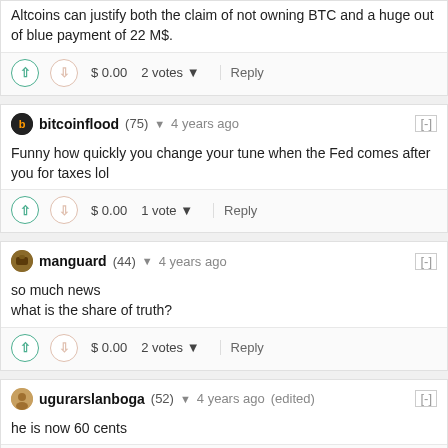Altcoins can justify both the claim of not owning BTC and a huge out of blue payment of 22 M$.
$ 0.00   2 votes   Reply
bitcoinflood (75) 4 years ago [-]
Funny how quickly you change your tune when the Fed comes after you for taxes lol
$ 0.00   1 vote   Reply
manguard (44) 4 years ago [-]
so much news
what is the share of truth?
$ 0.00   2 votes   Reply
ugurarslanboga (52) 4 years ago (edited) [-]
he is now 60 cents
$ 0.00   2 votes   Reply